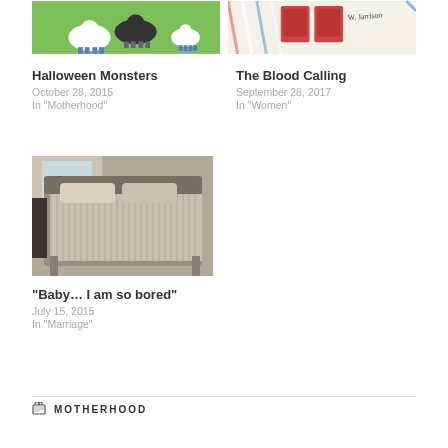[Figure (photo): Pixel art illustration of sheep on green background]
[Figure (photo): Vintage airmail envelope with red stamps and handwriting]
Halloween Monsters
October 28, 2015
In "Motherhood"
The Blood Calling
September 28, 2017
In "Women"
[Figure (photo): Bedroom with a made bed, pillows, and striped bedspread]
“Baby… I am so bored”
July 15, 2015
In "Marriage"
MOTHERHOOD